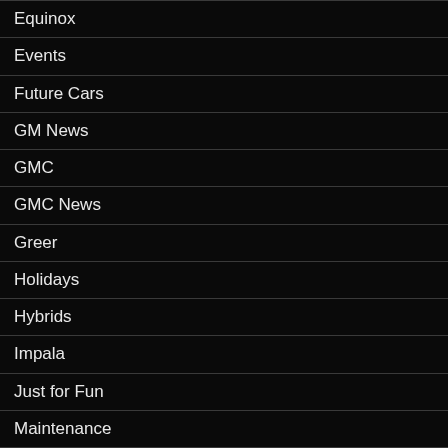Equinox
Events
Future Cars
GM News
GMC
GMC News
Greer
Holidays
Hybrids
Impala
Just for Fun
Maintenance